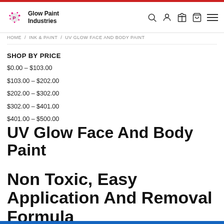Glow Paint Industries
HOME / INK & PAINT / UV GLOW FACE AND BODY PAINT
SHOP BY PRICE
$0.00 – $103.00
$103.00 – $202.00
$202.00 – $302.00
$302.00 – $401.00
$401.00 – $500.00
UV Glow Face And Body Paint
Non Toxic, Easy Application And Removal Formula